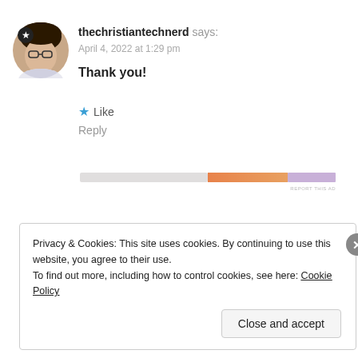[Figure (photo): Circular avatar photo of a woman with glasses, with a star badge overlay in top-left of circle]
thechristiantechnerd says:
April 4, 2022 at 1:29 pm
Thank you!
★ Like
Reply
[Figure (other): Horizontal ad bar with gray, orange and purple segments; REPORT THIS AD label]
Privacy & Cookies: This site uses cookies. By continuing to use this website, you agree to their use.
To find out more, including how to control cookies, see here: Cookie Policy
Close and accept